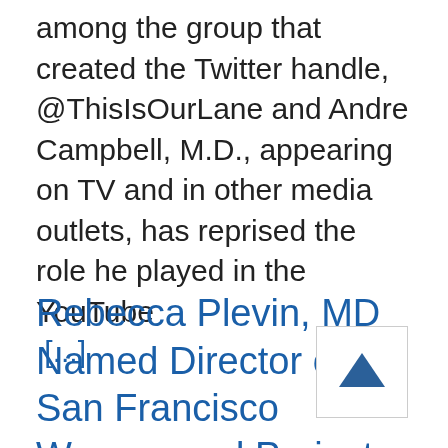A. Callcut, M.D., M.P.H. was among the group that created the Twitter handle, @ThisIsOurLane and Andre Campbell, M.D., appearing on TV and in other media outlets, has reprised the role he played in the YouTube [...]
Rebecca Plevin, MD Named Director of San Francisco Wraparound Project at ZSFG